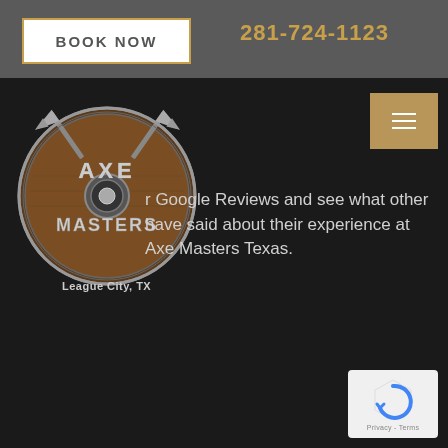BOOK NOW   281-724-1123
[Figure (logo): Axe Masters Texas circular logo with crossed axes on a wooden shield background, with runic-style text reading AXE MASTERS]
League City, TX
Check out our Google Reviews and see what other have said about their experience at Axe Masters Texas.
[Figure (other): Google reCAPTCHA badge with Privacy - Terms text]